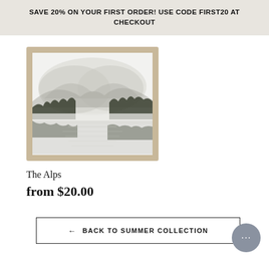SAVE 20% ON YOUR FIRST ORDER! USE CODE FIRST20 AT CHECKOUT
[Figure (illustration): A framed watercolor painting of a misty alpine lake landscape with mountains in the background and dark trees reflected in the water. The frame is a light wood/tan color.]
The Alps
from $20.00
← BACK TO SUMMER COLLECTION